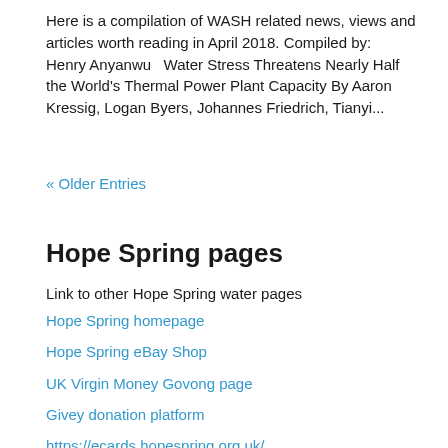Here is a compilation of WASH related news, views and articles worth reading in April 2018. Compiled by:  Henry Anyanwu   Water Stress Threatens Nearly Half the World's Thermal Power Plant Capacity By Aaron Kressig, Logan Byers, Johannes Friedrich, Tianyi...
« Older Entries
Hope Spring pages
Link to other Hope Spring water pages
Hope Spring homepage
Hope Spring eBay Shop
UK Virgin Money Govong page
Givey donation platform
https://ecards.hopespring.org.uk/